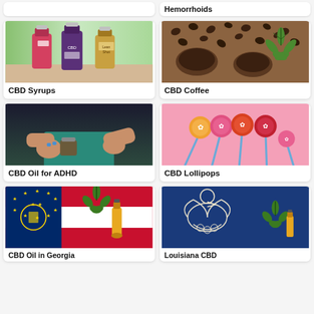Hemorrhoids
[Figure (photo): Three CBD syrup bottles on a table with tropical background]
CBD Syrups
[Figure (photo): Coffee beans and CBD cannabis leaf on wooden surface]
CBD Coffee
[Figure (photo): Woman's hands holding cannabis flower/herb]
CBD Oil for ADHD
[Figure (photo): Colorful CBD lollipops on pink background]
CBD Lollipops
[Figure (photo): Georgia state flag with CBD oil bottle and cannabis leaf]
CBD Oil in Georgia
[Figure (photo): Louisiana state flag (pelican) with cannabis leaf and CBD bottle]
Louisiana CBD